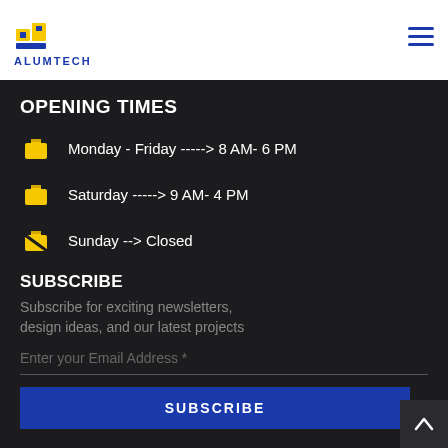[Figure (logo): Alumtech logo with yellow and blue building/panel icon and blue ALUMTECH text]
OPENING TIMES
Monday - Friday -----> 8 AM- 6 PM
Saturday -----> 9 AM- 4 PM
Sunday --> Closed
SUBSCRIBE
Subscribe for exciting newsletters, design ideas, and our latest projects
Enter your Email Address *
SUBSCRIBE